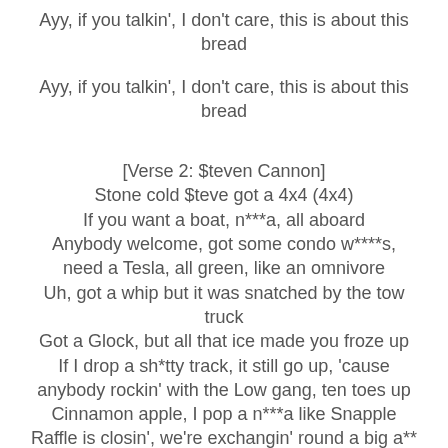Ayy, if you talkin', I don't care, this is about this bread
Ayy, if you talkin', I don't care, this is about this bread
[Verse 2: $teven Cannon]
Stone cold $teve got a 4x4 (4x4)
If you want a boat, n***a, all aboard
Anybody welcome, got some condo w****s, need a Tesla, all green, like an omnivore
Uh, got a whip but it was snatched by the tow truck
Got a Glock, but all that ice made you froze up
If I drop a sh*tty track, it still go up, 'cause anybody rockin' with the Low gang, ten toes up
Cinnamon apple, I pop a n***a like Snapple
Raffle is closin', we're exchangin' round a big a**